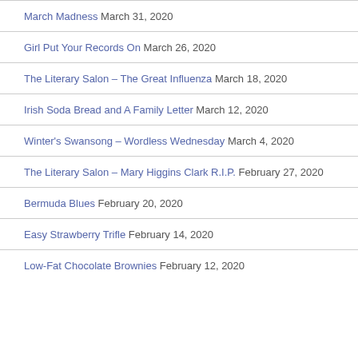March Madness March 31, 2020
Girl Put Your Records On March 26, 2020
The Literary Salon – The Great Influenza March 18, 2020
Irish Soda Bread and A Family Letter March 12, 2020
Winter's Swansong – Wordless Wednesday March 4, 2020
The Literary Salon – Mary Higgins Clark R.I.P. February 27, 2020
Bermuda Blues February 20, 2020
Easy Strawberry Trifle February 14, 2020
Low-Fat Chocolate Brownies February 12, 2020